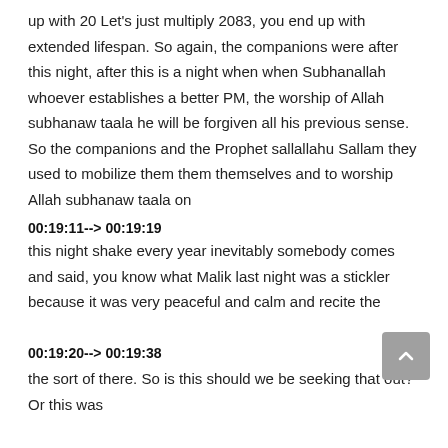up with 20 Let's just multiply 2083, you end up with extended lifespan. So again, the companions were after this night, after this is a night when when Subhanallah whoever establishes a better PM, the worship of Allah subhanaw taala he will be forgiven all his previous sense. So the companions and the Prophet sallallahu Sallam they used to mobilize them them themselves and to worship Allah subhanaw taala on
00:19:11--> 00:19:19
this night shake every year inevitably somebody comes and said, you know what Malik last night was a stickler because it was very peaceful and calm and recite the
00:19:20--> 00:19:38
the sort of there. So is this should we be seeking that out? Or this was